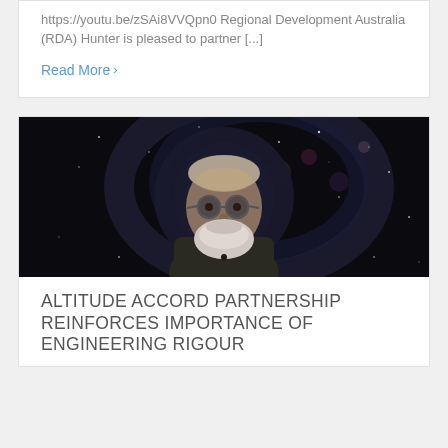https://youtu.be/zSAi8VVQpn0 Regional Development Australia (RDA) Hunter is pleased to partner [...]
Read More >
[Figure (photo): Man with glasses and white beard, photographed against a dark galaxy/space background. He is wearing a dark collared shirt.]
ALTITUDE ACCORD PARTNERSHIP REINFORCES IMPORTANCE OF ENGINEERING RIGOUR